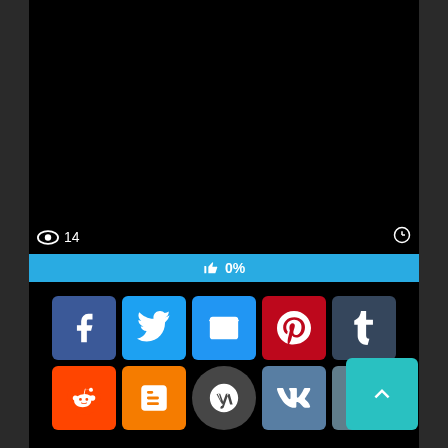[Figure (screenshot): Black video thumbnail with view count (eye icon + 14) on lower left and clock icon on lower right]
👁 14
🕐
👍 0%
Private 19 02 08 Hannah Vivienne Anal Punishment For Disobedient Boxer
[Figure (screenshot): Black video thumbnail area]
[Figure (infographic): Social sharing buttons: Facebook, Twitter, Email, Pinterest, Tumblr (row 1); Reddit, Blogger, WordPress, VK, More (row 2); Back to top button (cyan, top right)]